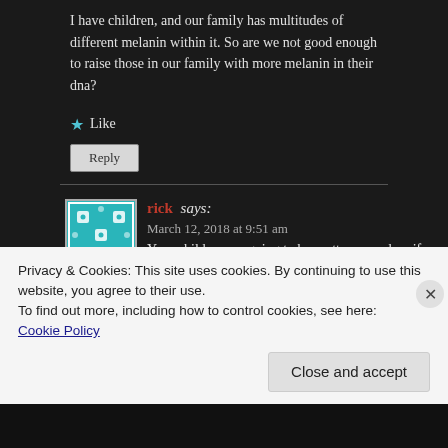I have children, and our family has multitudes of different melanin within it. So are we not good enough to raise those in our family with more melanin in their dna?
★ Like
Reply
rick says:
March 12, 2018 at 9:51 am
Your children are going to be pretty messed up if this is what your teaching them. I would keep this shit to myself if I were you because it's so fucking dumb and very racist. I didn't consider race at all while watching this movie and until reading this...
Privacy & Cookies: This site uses cookies. By continuing to use this website, you agree to their use.
To find out more, including how to control cookies, see here:
Cookie Policy
Close and accept